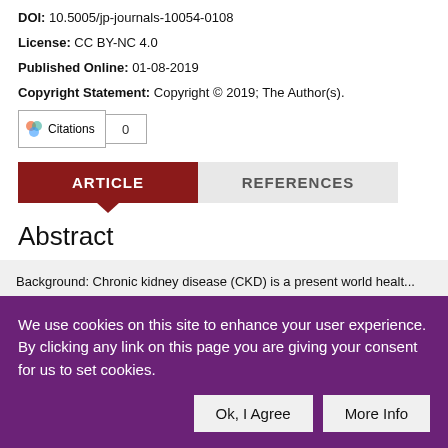DOI: 10.5005/jp-journals-10054-0108
License: CC BY-NC 4.0
Published Online: 01-08-2019
Copyright Statement: Copyright © 2019; The Author(s).
Citations 0
ARTICLE   REFERENCES
Abstract
Background: Chronic kidney disease (CKD) is a present world health ... immunity and make them most susceptible to infection. The relation ... infection has never been established. Aim: The study was designed ... inflammatory marker hs-CRP in various stages of CKD patients and
We use cookies on this site to enhance your user experience. By clicking any link on this page you are giving your consent for us to set cookies.